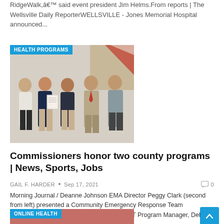RidgeWalk,â€™ said event president Jim Helms.From reports | The Wellsville Daily ReporterWELLSVILLE - Jones Memorial Hospital announced...
[Figure (photo): Group of five people standing together indoors, with an American flag in the background. One person is holding a certificate or document. A blue 'HEALTH PROGRAMS' label overlays the top-left corner of the photo.]
Commissioners honor two county programs | News, Sports, Jobs
GAIL F. HARDER • Sep 17, 2021  0
Morning Journal / Deanne Johnson EMA Director Peggy Clark (second from left) presented a Community Emergency Response Team Appreciation Week proclamation to the CERT Program Manager, Debra Moore (third...
[Figure (photo): Partial photo of a building with a red element visible, with a blue 'ONLINE HEALTH' label overlaying the top-left corner.]